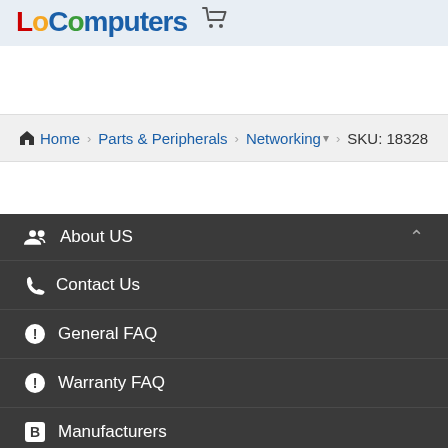LoComputers
Home > Parts & Peripherals > Networking > SKU: 18328
About US
Contact Us
General FAQ
Warranty FAQ
Manufacturers
Contacts